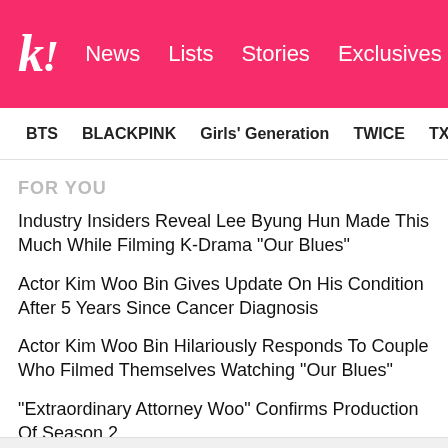k! News Lists Stories Exclusives
BTS BLACKPINK Girls' Generation TWICE TXT SEVE
FOR YOU
Industry Insiders Reveal Lee Byung Hun Made This Much While Filming K-Drama "Our Blues"
Actor Kim Woo Bin Gives Update On His Condition After 5 Years Since Cancer Diagnosis
Actor Kim Woo Bin Hilariously Responds To Couple Who Filmed Themselves Watching "Our Blues"
"Extraordinary Attorney Woo" Confirms Production Of Season 2
WINNER's Kang Seungyoon Spotted With Rumored Girlfriend, YG Entertainment Actress Moon Ji Hyo